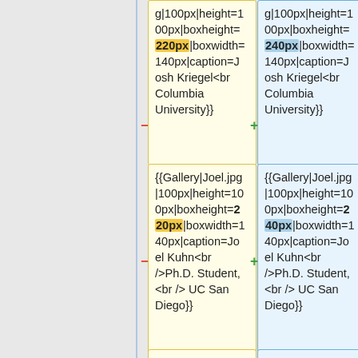g|100px|height=100px|boxheight=220px|boxwidth=140px|caption=Josh Kriegel<br />Postbac, <br /> Columbia University}}
g|100px|height=100px|boxheight=240px|boxwidth=140px|caption=Josh Kriegel<br />Postbac, <br /> Columbia University}}
{{Gallery|Joel.jpg|100px|height=100px|boxheight=220px|boxwidth=140px|caption=Joel Kuhn<br />Ph.D. Student, <br /> UC San Diego}}
{{Gallery|Joel.jpg|100px|height=100px|boxheight=240px|boxwidth=140px|caption=Joel Kuhn<br />Ph.D. Student, <br /> UC San Diego}}
{{Gallery|Person-placeholder.png|100px|height=100px|boxheight=2 20px|boxwidth=1...
{{Gallery|Person-placeholder.png|100px|height=100px|boxheight=2 40px|boxwidth=1...